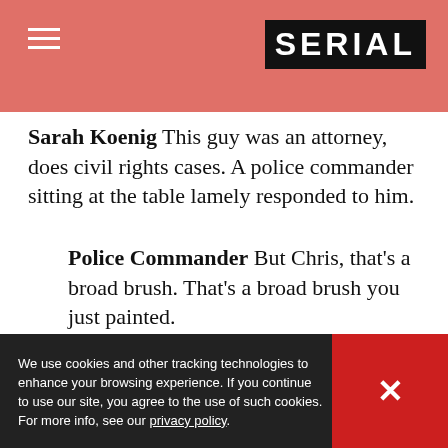SERIAL
Sarah Koenig This guy was an attorney, does civil rights cases. A police commander sitting at the table lamely responded to him.
Police Commander But Chris, that's a broad brush. That's a broad brush you just painted.
Chris It's a broad brush because—
Police Commander Now, look, you're not afraid of me.
. We just met. We just met. I'll shake your hand again.
We use cookies and other tracking technologies to enhance your browsing experience. If you continue to use our site, you agree to the use of such cookies. For more info, see our privacy policy.